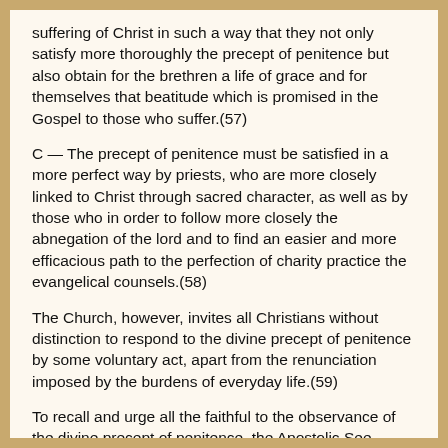suffering of Christ in such a way that they not only satisfy more thoroughly the precept of penitence but also obtain for the brethren a life of grace and for themselves that beatitude which is promised in the Gospel to those who suffer.(57)
C — The precept of penitence must be satisfied in a more perfect way by priests, who are more closely linked to Christ through sacred character, as well as by those who in order to follow more closely the abnegation of the lord and to find an easier and more efficacious path to the perfection of charity practice the evangelical counsels.(58)
The Church, however, invites all Christians without distinction to respond to the divine precept of penitence by some voluntary act, apart from the renunciation imposed by the burdens of everyday life.(59)
To recall and urge all the faithful to the observance of the divine precept of penitence, the Apostolic See intends to reorganize penitential